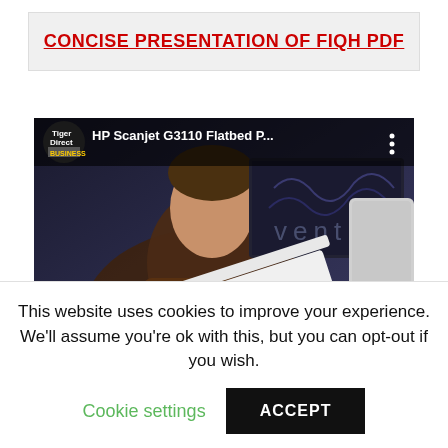CONCISE PRESENTATION OF FIQH PDF
[Figure (screenshot): YouTube video thumbnail showing a man in a brown shirt holding up a white HP Scanjet G3110 flatbed scanner lid. The video is from TigerDirect Business channel. Title reads 'HP Scanjet G3110 Flatbed P...' with a YouTube play button overlay and three-dot menu icon.]
This website uses cookies to improve your experience. We'll assume you're ok with this, but you can opt-out if you wish.
Cookie settings   ACCEPT